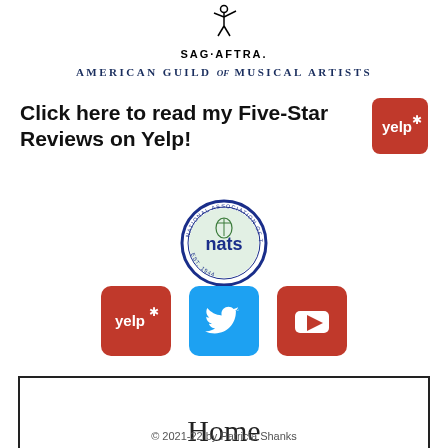[Figure (logo): SAG-AFTRA logo with stylized figure and text]
[Figure (logo): American Guild of Musical Artists text logo]
Click here to read my Five-Star Reviews on Yelp!
[Figure (logo): Yelp logo badge (red rounded square with yelp* text)]
[Figure (logo): NATS (National Association of Teachers of Singing) circular seal]
[Figure (logo): Social media icons row: Yelp (red), Twitter (blue), YouTube (red)]
Home
© 2021-22 by Patricia Shanks